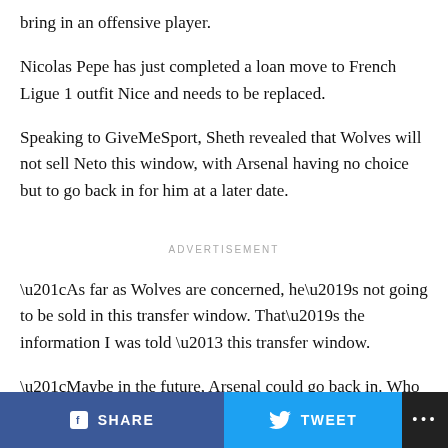bring in an offensive player.
Nicolas Pepe has just completed a loan move to French Ligue 1 outfit Nice and needs to be replaced.
Speaking to GiveMeSport, Sheth revealed that Wolves will not sell Neto this window, with Arsenal having no choice but to go back in for him at a later date.
ADVERTISEMENT
“As far as Wolves are concerned, he’s not going to be sold in this transfer window. That’s the information I was told – this transfer window.
“Maybe in the future, Arsenal could go back in. Who
SHARE   TWEET   ...